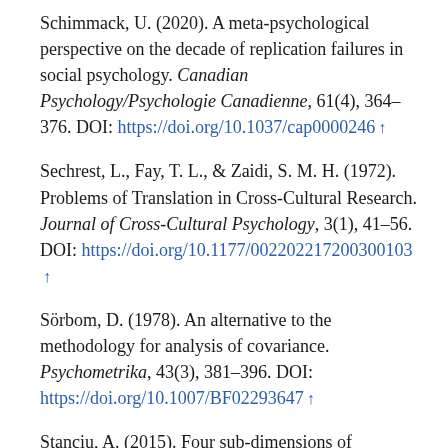Schimmack, U. (2020). A meta-psychological perspective on the decade of replication failures in social psychology. Canadian Psychology/Psychologie Canadienne, 61(4), 364–376. DOI: https://doi.org/10.1037/cap0000246 ↑
Sechrest, L., Fay, T. L., & Zaidi, S. M. H. (1972). Problems of Translation in Cross-Cultural Research. Journal of Cross-Cultural Psychology, 3(1), 41–56. DOI: https://doi.org/10.1177/002202217200300103 ↑
Sörbom, D. (1978). An alternative to the methodology for analysis of covariance. Psychometrika, 43(3), 381–396. DOI: https://doi.org/10.1007/BF02293647 ↑
Stanciu, A. (2015). Four sub-dimensions of stereotype content…